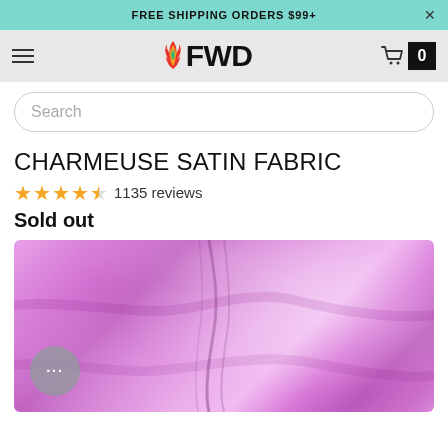FREE SHIPPING ORDERS $99+
[Figure (logo): FWD store logo with flame icon]
Search
CHARMEUSE SATIN FABRIC
★★★★½ 1135 reviews
Sold out
[Figure (photo): Pink/lavender charmeuse satin fabric draped with sheen highlights]